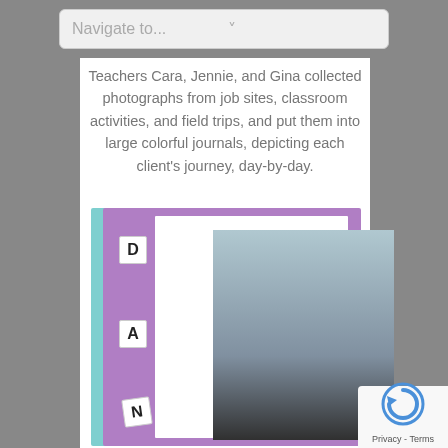Navigate to...
Teachers Cara, Jennie, and Gina collected photographs from job sites, classroom activities, and field trips, and put them into large colorful journals, depicting each client's journey, day-by-day.
[Figure (photo): A colorful scrapbook/journal with a purple cover and cyan spine. Letter tiles spelling D, A, N are on the left side. Inside is a photo of a man in a black shirt holding a bowling pin, sitting at a desk with an open book/journal in front of him.]